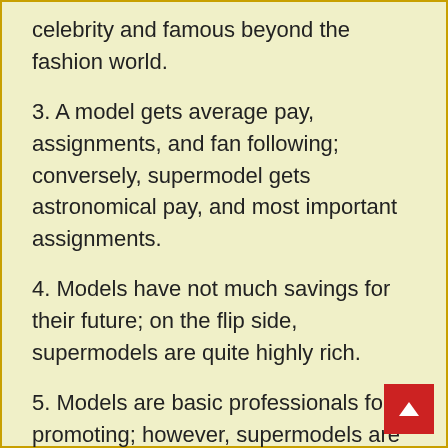celebrity and famous beyond the fashion world.
3. A model gets average pay, assignments, and fan following; conversely, supermodel gets astronomical pay, and most important assignments.
4. Models have not much savings for their future; on the flip side, supermodels are quite highly rich.
5. Models are basic professionals for promoting; however, supermodels are